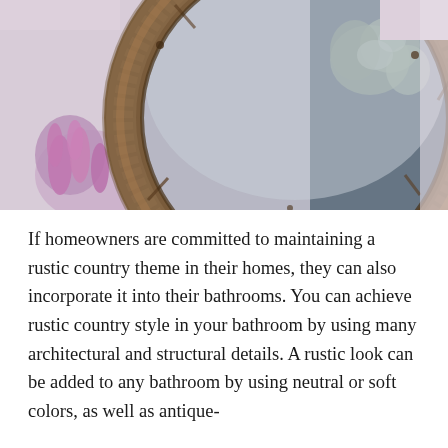[Figure (photo): Close-up photo of a round rustic wooden-framed mirror. The frame appears to be made from weathered/reclaimed wood with a natural grain texture. In the reflection and surroundings, there are purple/pink wildflowers on the left and white/green foliage on the right. The background wall is light lavender/white.]
If homeowners are committed to maintaining a rustic country theme in their homes, they can also incorporate it into their bathrooms. You can achieve rustic country style in your bathroom by using many architectural and structural details. A rustic look can be added to any bathroom by using neutral or soft colors, as well as antique-